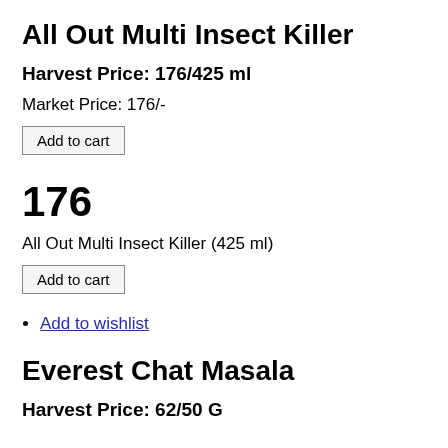All Out Multi Insect Killer
Harvest Price: 176/425 ml
Market Price: 176/-
Add to cart
176
All Out Multi Insect Killer (425 ml)
Add to cart
Add to wishlist
Everest Chat Masala
Harvest Price: 62/50 G